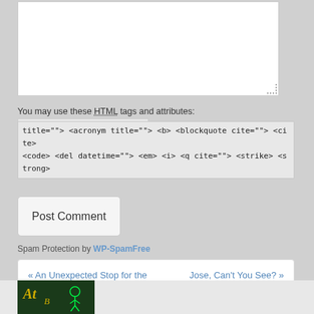You may use these HTML tags and attributes: <a href="" title=""> <abbr title=""> <acronym title=""> <b> <blockquote cite=""> <cite> <code> <del datetime=""> <em> <i> <q cite=""> <strike> <strong>
Post Comment
Spam Protection by WP-SpamFree
« An Unexpected Stop for the Ryan Express
Jose, Can't You See? »
[Figure (photo): Green neon sign photo at bottom left]